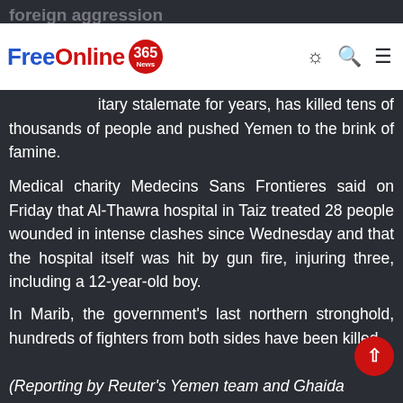foreign aggression
[Figure (logo): FreeOnline365 News logo — blue 'Free', red 'Online', red circle badge with '365' and 'News'. Navigation icons: sun/brightness, search, menu hamburger.]
...itary stalemate for years, has killed tens of thousands of people and pushed Yemen to the brink of famine.
Medical charity Medecins Sans Frontieres said on Friday that Al-Thawra hospital in Taiz treated 28 people wounded in intense clashes since Wednesday and that the hospital itself was hit by gun fire, injuring three, including a 12-year-old boy.
In Marib, the government's last northern stronghold, hundreds of fighters from both sides have been killed.
(Reporting by Reuter's Yemen team and Ghaida